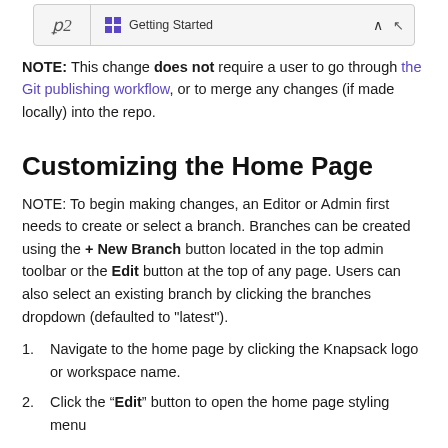[Figure (screenshot): UI screenshot showing a sidebar panel with 'Getting Started' section and a mouse cursor icon, with the number 92 on the left side.]
NOTE: This change does not require a user to go through the Git publishing workflow, or to merge any changes (if made locally) into the repo.
Customizing the Home Page
NOTE: To begin making changes, an Editor or Admin first needs to create or select a branch. Branches can be created using the + New Branch button located in the top admin toolbar or the Edit button at the top of any page. Users can also select an existing branch by clicking the branches dropdown (defaulted to "latest").
Navigate to the home page by clicking the Knapsack logo or workspace name.
Click the “Edit” button to open the home page styling menu